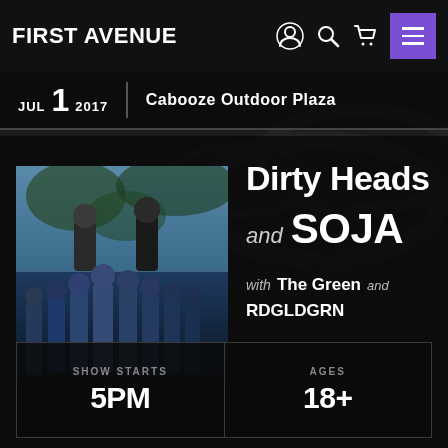FIRST AVENUE
JUL 1 2017 | Cabooze Outdoor Plaza
Dirty Heads and SOJA with The Green and RDGLDGRN
[Figure (photo): Band photo showing Dirty Heads (top two members) and SOJA (bottom group) in a split composite image]
SHOW STARTS 5PM
AGES 18+